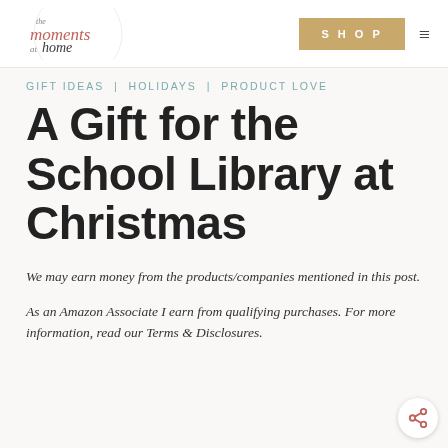the moments at home | SHOP
GIFT IDEAS | HOLIDAYS | PRODUCT LOVE
A Gift for the School Library at Christmas
We may earn money from the products/companies mentioned in this post.
As an Amazon Associate I earn from qualifying purchases. For more information, read our Terms & Disclosures.